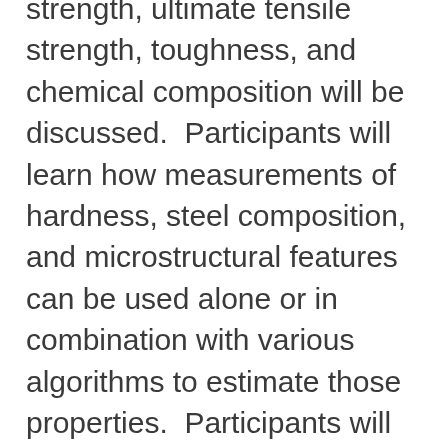strength, ultimate tensile strength, toughness, and chemical composition will be discussed.  Participants will learn how measurements of hardness, steel composition, and microstructural features can be used alone or in combination with various algorithms to estimate those properties.  Participants will also be introduced to test methods that more directly provide estimates of strength, such as instrumented indentation techniques and other proprietary methods. Methods that provide “lower bound” estimates of properties versus methods that provide estimates of the actual properties will be compared.  This webinar will also provide guidance on